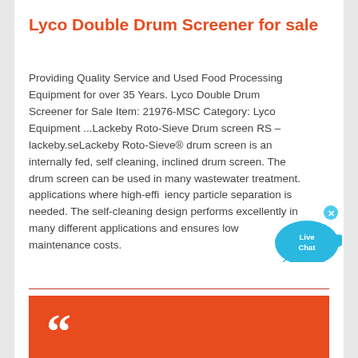Lyco Double Drum Screener for sale
Providing Quality Service and Used Food Processing Equipment for over 35 Years. Lyco Double Drum Screener for Sale Item: 21976-MSC Category: Lyco Equipment ...Lackeby Roto-Sieve Drum screen RS – lackeby.seLackeby Roto-Sieve® drum screen is an internally fed, self cleaning, inclined drum screen. The drum screen can be used in many wastewater treatment. applications where high-efficiency particle separation is needed. The self-cleaning design performs excellently in many different applications and ensures low maintenance costs.
[Figure (illustration): Live Chat button with cyan speech bubble and fish icon, with an X close button]
[Figure (illustration): Orange box with large white opening quotation marks]